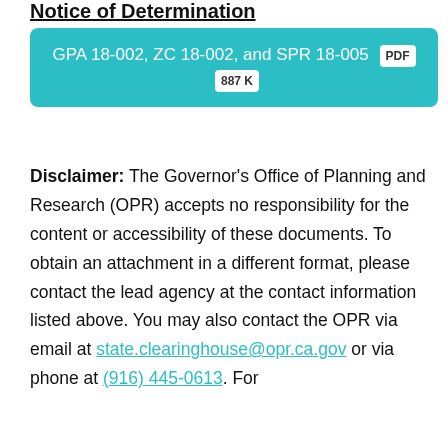Notice of Determination
[Figure (other): Teal rounded box containing link text: GPA 18-002, ZC 18-002, and SPR 18-005 with PDF and 887K badges]
Disclaimer: The Governor's Office of Planning and Research (OPR) accepts no responsibility for the content or accessibility of these documents. To obtain an attachment in a different format, please contact the lead agency at the contact information listed above. You may also contact the OPR via email at state.clearinghouse@opr.ca.gov or via phone at (916) 445-0613. For